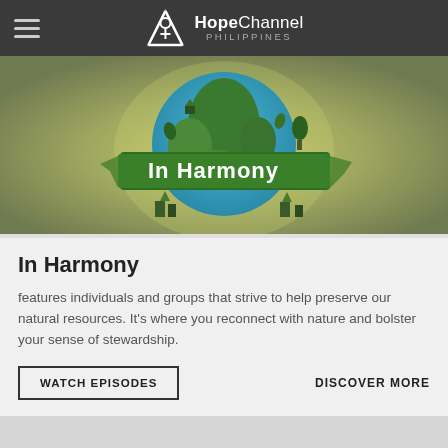HopeChannel PHILIPPINES
[Figure (illustration): In Harmony show logo: a globe with green continents, surrounded by small buildings and trees, with a green banner reading 'In Harmony' in white bold text, on a warm olive-green gradient background.]
In Harmony
features individuals and groups that strive to help preserve our natural resources. It's where you reconnect with nature and bolster your sense of stewardship.
WATCH EPISODES   DISCOVER MORE